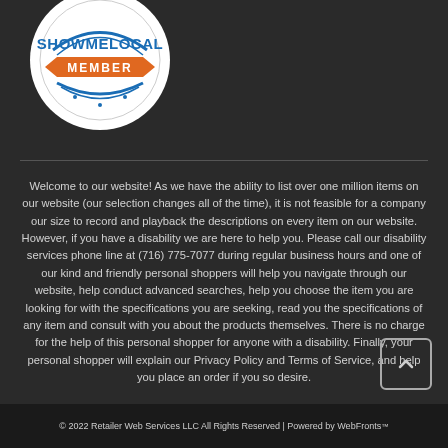[Figure (logo): ShowMeLocal Member badge — circular white badge with blue text 'SHOWMELOCAL' and orange banner reading 'MEMBER']
Welcome to our website! As we have the ability to list over one million items on our website (our selection changes all of the time), it is not feasible for a company our size to record and playback the descriptions on every item on our website. However, if you have a disability we are here to help you. Please call our disability services phone line at (716) 775-7077 during regular business hours and one of our kind and friendly personal shoppers will help you navigate through our website, help conduct advanced searches, help you choose the item you are looking for with the specifications you are seeking, read you the specifications of any item and consult with you about the products themselves. There is no charge for the help of this personal shopper for anyone with a disability. Finally, your personal shopper will explain our Privacy Policy and Terms of Service, and help you place an order if you so desire.
© 2022 Retailer Web Services LLC All Rights Reserved | Powered by WebFronts™